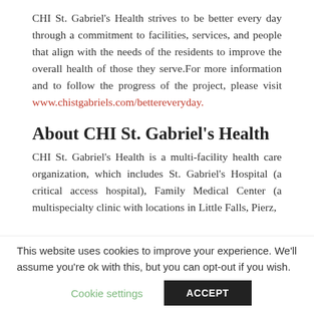CHI St. Gabriel's Health strives to be better every day through a commitment to facilities, services, and people that align with the needs of the residents to improve the overall health of those they serve.For more information and to follow the progress of the project, please visit www.chistgabriels.com/bettereveryday.
About CHI St. Gabriel's Health
CHI St. Gabriel's Health is a multi-facility health care organization, which includes St. Gabriel's Hospital (a critical access hospital), Family Medical Center (a multispecialty clinic with locations in Little Falls, Pierz,
This website uses cookies to improve your experience. We'll assume you're ok with this, but you can opt-out if you wish.
Cookie settings  ACCEPT